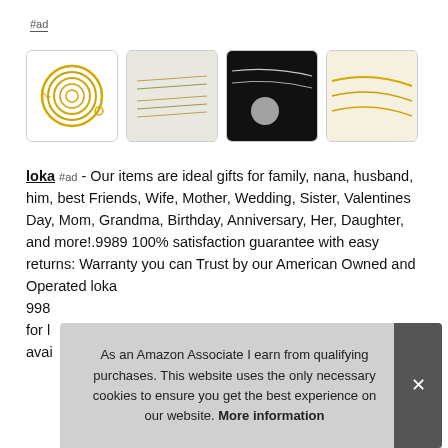#ad
[Figure (photo): Four product images of gold chain necklaces arranged in a row]
loka #ad - Our items are ideal gifts for family, nana, husband, him, best Friends, Wife, Mother, Wedding, Sister, Valentines Day, Mom, Grandma, Birthday, Anniversary, Her, Daughter, and more!.9989 100% satisfaction guarantee with easy returns: Warranty you can Trust by our American Owned and Operated loka 998 for l avai
As an Amazon Associate I earn from qualifying purchases. This website uses the only necessary cookies to ensure you get the best experience on our website. More information